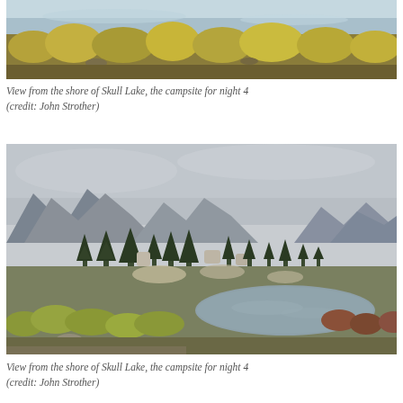[Figure (photo): Panoramic view from the shore of Skull Lake showing yellow-green shrubs in the foreground and calm water reflecting the sky in the background]
View from the shore of Skull Lake, the campsite for night 4 (credit: John Strother)
[Figure (photo): Wide landscape view from the shore of Skull Lake showing a meadow with yellow-green shrubs, a small lake reflecting the scene, evergreen trees, rocky terrain, and dramatic mountain peaks under a cloudy sky]
View from the shore of Skull Lake, the campsite for night 4 (credit: John Strother)